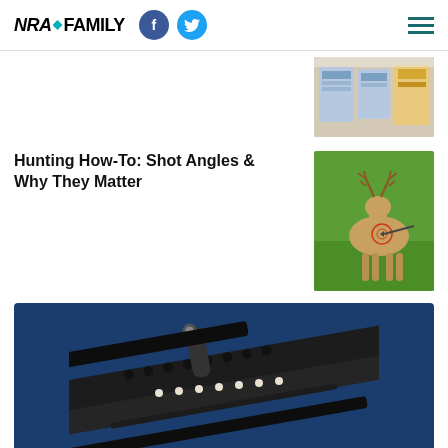NRA FAMILY
[Figure (photo): Thumbnail image showing packaged products on a table, partial view]
Hunting How-To: Shot Angles & Why They Matter
[Figure (photo): Deer target archery practice dummy with marked shot zones, outdoors on grass]
[Figure (photo): Close-up of a black rifle/firearm rail system with a tactical flashlight attached, on dark blue background]